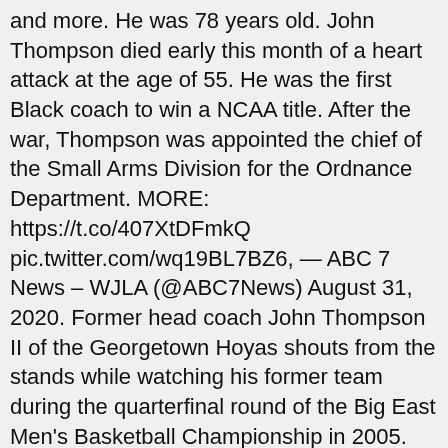and more. He was 78 years old. John Thompson died early this month of a heart attack at the age of 55. He was the first Black coach to win a NCAA title. After the war, Thompson was appointed the chief of the Small Arms Division for the Ordnance Department. MORE: https://t.co/407XtDFmkQ pic.twitter.com/wq19BL7BZ6, — ABC 7 News – WJLA (@ABC7News) August 31, 2020. Former head coach John Thompson II of the Georgetown Hoyas shouts from the stands while watching his former team during the quarterfinal round of the Big East Men's Basketball Championship in 2005. [Collected on the Internet, 1999] By the way when they did an autopsy on John Wayne (Mr. Macho himself) 40 pounds of impacted fecal matter was removed from his death ... sports." Powered by. Father of Constance THOMPSON Wade, Yvonne THOMPSON Copeland, Otho Thompson and John Thompson, Jr.----- Biographical Sketch Mr. John T. Thompson, Sr. John T. Thompson, Sr. was born and reared in Martinsburg, Md. Last Updated: March 22, 2016 Trailblazing former Georgetown men's basketball coach John Thompson has died at the age of 78. Hall of Fame basketball